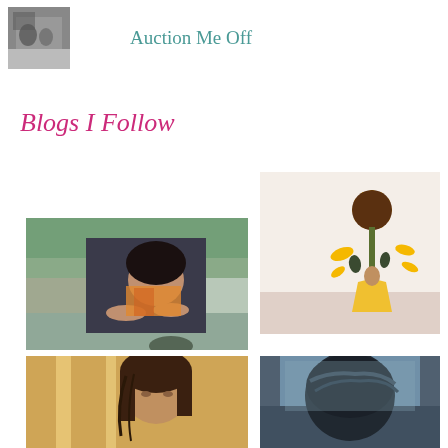[Figure (photo): Small black and white photo used as blog logo/avatar in header]
Auction Me Off
Blogs I Follow
[Figure (photo): Young woman with dark hair resting chin on hands, leaning on a ledge outdoors, colorful scarf]
[Figure (photo): Woman in yellow dress holding a large sunflower, petals falling, light background]
[Figure (photo): Woman with long dark hair in warm golden light, close-up portrait]
[Figure (photo): Person with dark hair seen from behind or side, dark tones]